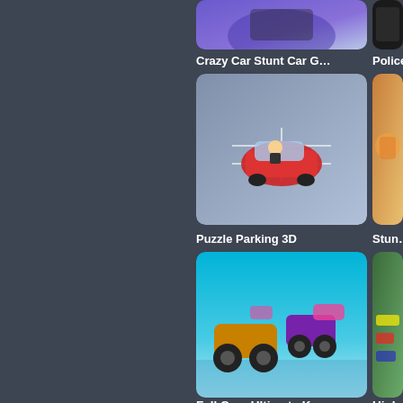[Figure (screenshot): Crazy Car Stunt Car G... game thumbnail - dark purple car game]
[Figure (screenshot): Police ... game thumbnail - dark background]
Crazy Car Stunt Car G...
Police...
[Figure (screenshot): Puzzle Parking 3D game thumbnail - cartoon red car in parking lot]
[Figure (screenshot): Stun... game thumbnail - motorcycle stunt rider]
Puzzle Parking 3D
Stun...
[Figure (screenshot): Fall Cars Ultimate Kno... game thumbnail - monster trucks on blue background]
[Figure (screenshot): High Spee... game thumbnail - racing cars on track]
Fall Cars Ultimate Kno...
High Spee...
[Figure (screenshot): Bottom left game thumbnail - RC car controller with UK flag car]
[Figure (screenshot): Bottom right game thumbnail - red truck]